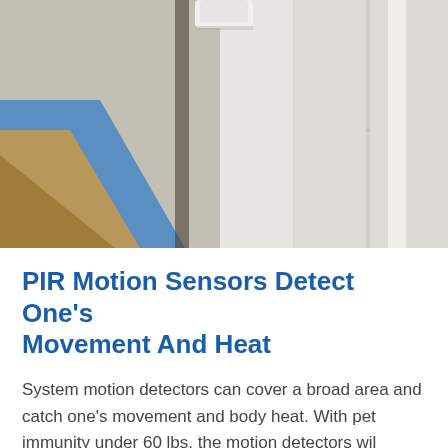[Figure (photo): A white PIR motion sensor device mounted near a wall/door corner. The background shows a beige/white wall and door frame, with blue and brown elements (possibly a wall and floor) visible in the lower left.]
PIR Motion Sensors Detect One's Movement And Heat
System motion detectors can cover a broad area and catch one's movement and body heat. With pet immunity under 60 lbs, the motion detectors wil